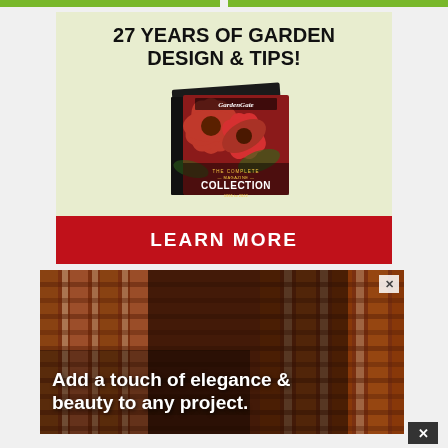[Figure (illustration): Advertisement for Garden Gate magazine Complete Collection. Light green background with bold black text '27 YEARS OF GARDEN DESIGN & TIPS!' above an image of a book/DVD case showing red coneflowers (Echinacea) on the cover labeled 'THE COMPLETE MAGAZINE COLLECTION'. Red button at bottom reads 'LEARN MORE'.]
[Figure (photo): Advertisement showing a wood lattice/screen architectural detail in warm brown/red tones. White bold text overlaid reads 'Add a touch of elegance & beauty to any project.' Small X close button in top right corner.]